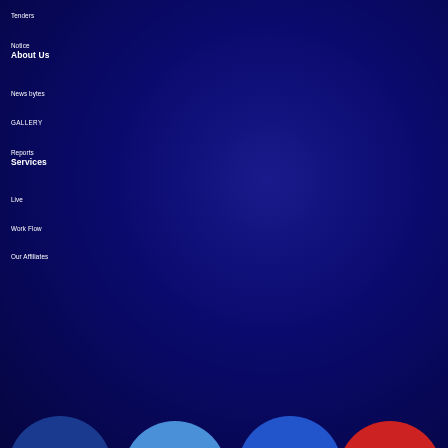Tenders
Notice
About Us
News bytes
GALLERY
Reports
Services
Live
Work Flow
Our Affiliates
[Figure (illustration): Row of colored circles (blue, light blue, teal/blue, red) partially visible at the bottom of the page]